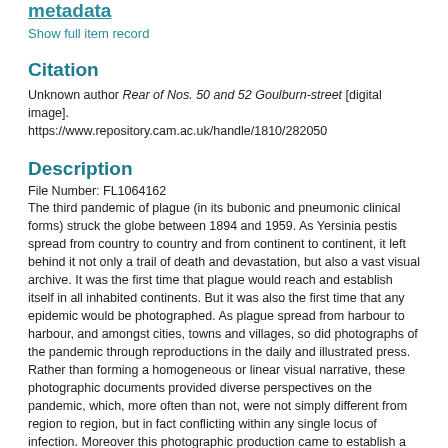metadata
Show full item record
Citation
Unknown author Rear of Nos. 50 and 52 Goulburn-street [digital image]. https://www.repository.cam.ac.uk/handle/1810/282050
Description
File Number: FL1064162
The third pandemic of plague (in its bubonic and pneumonic clinical forms) struck the globe between 1894 and 1959. As Yersinia pestis spread from country to country and from continent to continent, it left behind it not only a trail of death and devastation, but also a vast visual archive. It was the first time that plague would reach and establish itself in all inhabited continents. But it was also the first time that any epidemic would be photographed. As plague spread from harbour to harbour, and amongst cities, towns and villages, so did photographs of the pandemic through reproductions in the daily and illustrated press. Rather than forming a homogeneous or linear visual narrative, these photographic documents provided diverse perspectives on the pandemic, which, more often than not, were not simply different from region to region, but in fact conflicting within any single locus of infection. Moreover this photographic production came to establish a new field of vision, what we may call “epidemic photography” which continues to inform the way in which we see, depict and imagine epidemics and their social, economic, and political in...in the area of Global Health.